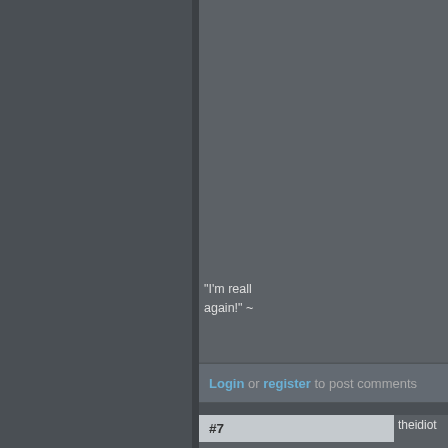"I'm reall... again!" ~
Login or register to post comments
#7
Sapient
High Level Donor
Co-Founder
Core Member  Site Admin
Posts: 7580
Joined: 2006-04-18
Offline
theidiot
theidio...
Use me ...
rational t...